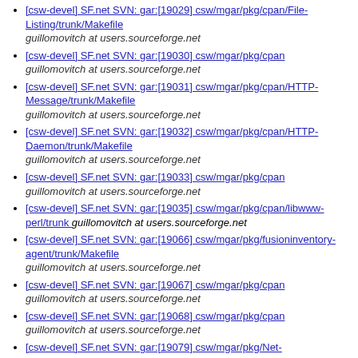[csw-devel] SF.net SVN: gar:[19029] csw/mgar/pkg/cpan/File-Listing/trunk/Makefile guillomovitch at users.sourceforge.net
[csw-devel] SF.net SVN: gar:[19030] csw/mgar/pkg/cpan guillomovitch at users.sourceforge.net
[csw-devel] SF.net SVN: gar:[19031] csw/mgar/pkg/cpan/HTTP-Message/trunk/Makefile guillomovitch at users.sourceforge.net
[csw-devel] SF.net SVN: gar:[19032] csw/mgar/pkg/cpan/HTTP-Daemon/trunk/Makefile guillomovitch at users.sourceforge.net
[csw-devel] SF.net SVN: gar:[19033] csw/mgar/pkg/cpan guillomovitch at users.sourceforge.net
[csw-devel] SF.net SVN: gar:[19035] csw/mgar/pkg/cpan/libwww-perl/trunk  guillomovitch at users.sourceforge.net
[csw-devel] SF.net SVN: gar:[19066] csw/mgar/pkg/fusioninventory-agent/trunk/Makefile guillomovitch at users.sourceforge.net
[csw-devel] SF.net SVN: gar:[19067] csw/mgar/pkg/cpan guillomovitch at users.sourceforge.net
[csw-devel] SF.net SVN: gar:[19068] csw/mgar/pkg/cpan guillomovitch at users.sourceforge.net
[csw-devel] SF.net SVN: gar:[19079] csw/mgar/pkg/Net-SNMP/trunk/Makefile